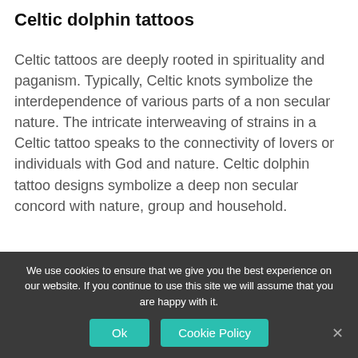Celtic dolphin tattoos
Celtic tattoos are deeply rooted in spirituality and paganism. Typically, Celtic knots symbolize the interdependence of various parts of a non secular nature. The intricate interweaving of strains in a Celtic tattoo speaks to the connectivity of lovers or individuals with God and nature. Celtic dolphin tattoo designs symbolize a deep non secular concord with nature, group and household.
[Figure (photo): Partial view of a sign or title card with large bold letters reading 'MOLIC TI' in dark color on a light background, with a dark red/maroon accent on the right side.]
We use cookies to ensure that we give you the best experience on our website. If you continue to use this site we will assume that you are happy with it.